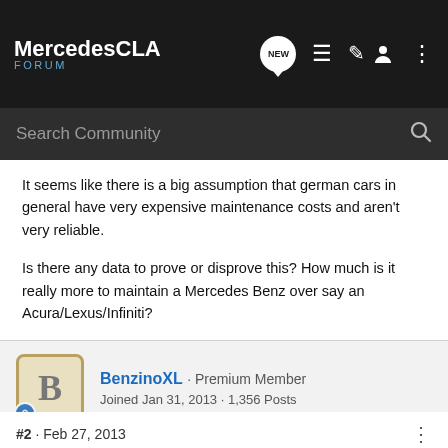MercedesCLA FORUM
It seems like there is a big assumption that german cars in general have very expensive maintenance costs and aren't very reliable.
Is there any data to prove or disprove this? How much is it really more to maintain a Mercedes Benz over say an Acura/Lexus/Infiniti?
BenzinoXL · Premium Member
Joined Jan 31, 2013 · 1,356 Posts
#2 · Feb 27, 2013